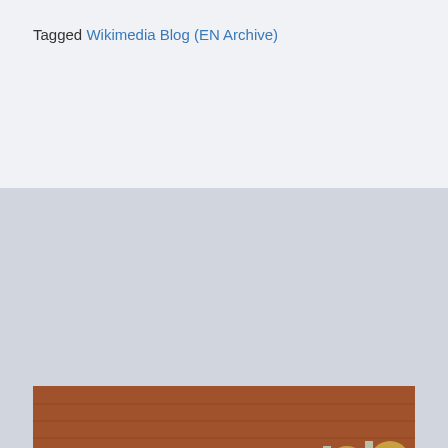Tagged Wikimedia Blog (EN Archive)
[Figure (photo): Large group photo of hundreds of people gathered in a historic brick courtyard with arched colonnades, taken from an elevated angle. The crowd fills the courtyard and many people have their hands raised. The setting appears to be a Wikimedia conference.]